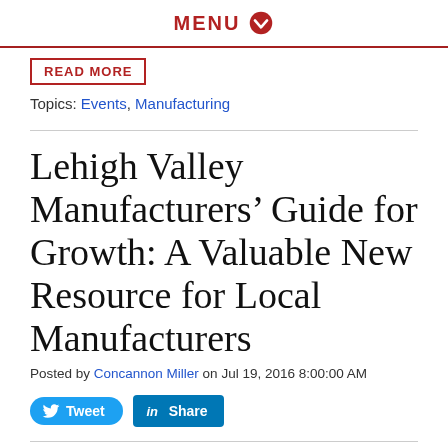MENU
READ MORE
Topics: Events, Manufacturing
Lehigh Valley Manufacturers’ Guide for Growth: A Valuable New Resource for Local Manufacturers
Posted by Concannon Miller on Jul 19, 2016 8:00:00 AM
Tweet  Share